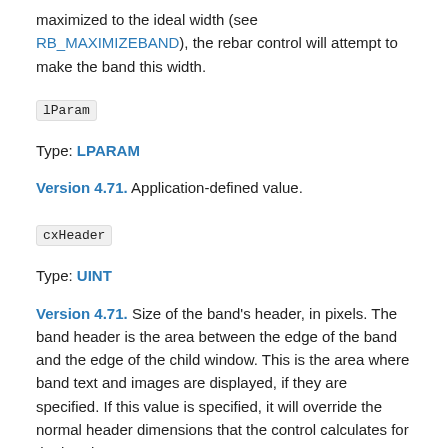maximized to the ideal width (see RB_MAXIMIZEBAND), the rebar control will attempt to make the band this width.
lParam
Type: LPARAM
Version 4.71. Application-defined value.
cxHeader
Type: UINT
Version 4.71. Size of the band's header, in pixels. The band header is the area between the edge of the band and the edge of the child window. This is the area where band text and images are displayed, if they are specified. If this value is specified, it will override the normal header dimensions that the control calculates for the band.